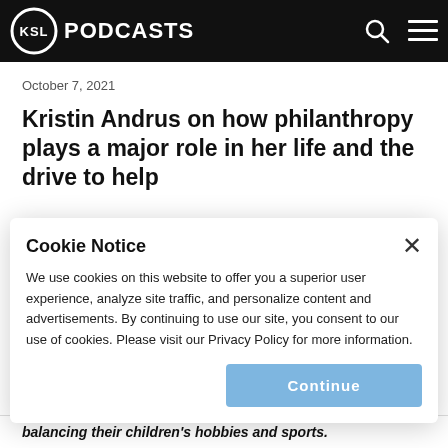KSL PODCASTS
October 7, 2021
Kristin Andrus on how philanthropy plays a major role in her life and the drive to help
Cookie Notice
We use cookies on this website to offer you a superior user experience, analyze site traffic, and personalize content and advertisements. By continuing to use our site, you consent to our use of cookies. Please visit our Privacy Policy for more information.
Continue
balancing their children's hobbies and sports.